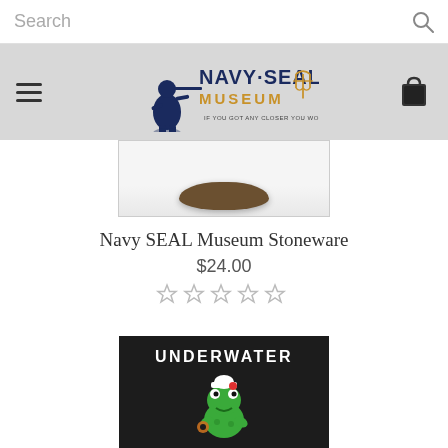Search
[Figure (logo): Navy SEAL Museum logo with soldier silhouette and trident, tagline: IF YOU GOT ANY CLOSER YOU WOULD HAVE TO ENLIST]
[Figure (photo): Partially visible stoneware product image]
Navy SEAL Museum Stoneware
$24.00
[Figure (other): 5-star rating display (all stars empty/grey)]
[Figure (photo): Dark t-shirt with UNDERWATER text and cartoon frog character]